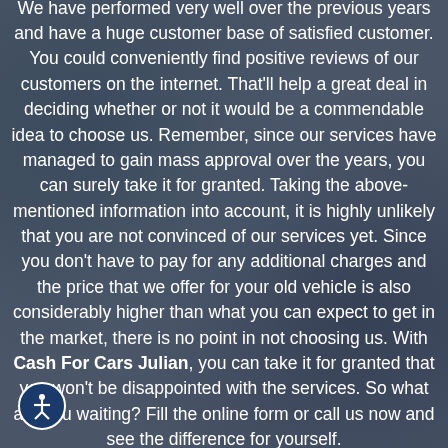We have performed very well over the previous years and have a huge customer base of satisfied customer. You could conveniently find positive reviews of our customers on the internet. That'll help a great deal in deciding whether or not it would be a commendable idea to choose us. Remember, since our services have managed to gain mass approval over the years, you can surely take it for granted. Taking the above-mentioned information into account, it is highly unlikely that you are not convinced of our services yet. Since you don't have to pay for any additional charges and the price that we offer for your old vehicle is also considerably higher than what you can expect to get in the market, there is no point in not choosing us. With Cash For Cars Julian, you can take it for granted that you won't be disappointed with the services. So what are you waiting? Fill the online form or call us now and see the difference for yourself.
[Figure (illustration): Accessibility icon: white stick figure person with arms and legs spread inside a blue circle with white border]